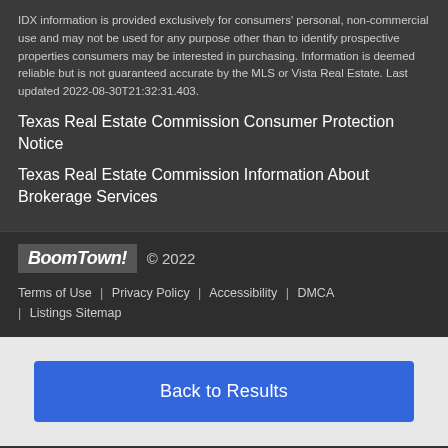IDX information is provided exclusively for consumers' personal, non-commercial use and may not be used for any purpose other than to identify prospective properties consumers may be interested in purchasing. Information is deemed reliable but is not guaranteed accurate by the MLS or Vista Real Estate. Last updated 2022-08-30T21:32:31.403.
Texas Real Estate Commission Consumer Protection Notice
Texas Real Estate Commission Information About Brokerage Services
BoomTown! © 2022 Terms of Use | Privacy Policy | Accessibility | DMCA | Listings Sitemap
Back to Results